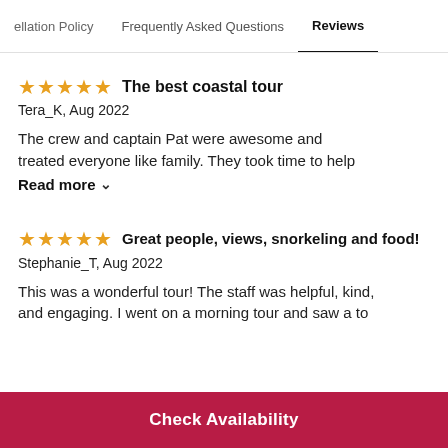ellation Policy   Frequently Asked Questions   Reviews
The best coastal tour
Tera_K, Aug 2022
The crew and captain Pat were awesome and treated everyone like family. They took time to help
Read more
Great people, views, snorkeling and food!
Stephanie_T, Aug 2022
This was a wonderful tour! The staff was helpful, kind, and engaging. I went on a morning tour and saw a to
Check Availability